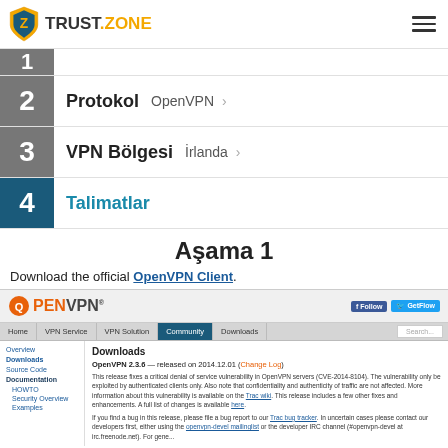TRUST.ZONE
2  Protokol  OpenVPN  >
3  VPN Bölgesi  İrlanda  >
4  Talimatlar
Aşama 1
Download the official OpenVPN Client.
[Figure (screenshot): Screenshot of OpenVPN official website showing the Downloads section with OpenVPN 2.3.6 release notes and navigation tabs including Home, VPN Service, VPN Solution, Community, Downloads.]